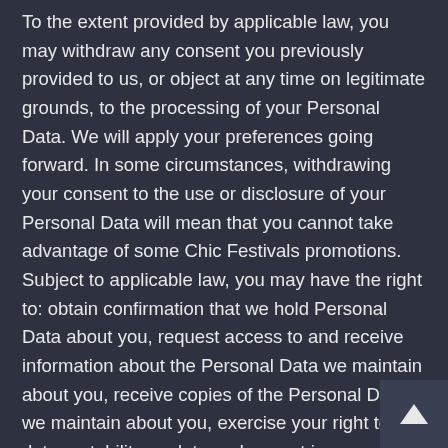To the extent provided by applicable law, you may withdraw any consent you previously provided to us, or object at any time on legitimate grounds, to the processing of your Personal Data. We will apply your preferences going forward. In some circumstances, withdrawing your consent to the use or disclosure of your Personal Data will mean that you cannot take advantage of some Chic Festivals promotions. Subject to applicable law, you may have the right to: obtain confirmation that we hold Personal Data about you, request access to and receive information about the Personal Data we maintain about you, receive copies of the Personal Data we maintain about you, exercise your right to data portability, update and correct inaccuracies in your Personal Data, object to or restrict the processing of your Personal Data, and have the information blocked, anonymized or deleted, as appropriate.

If we fall short of your expectations in processing your